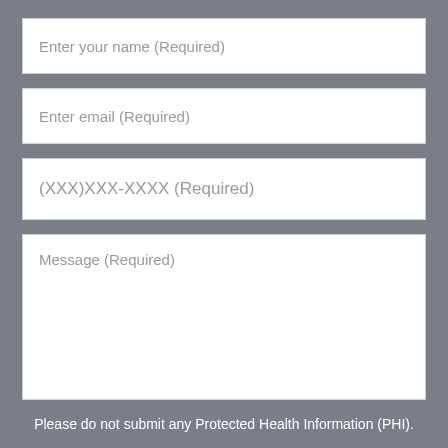Enter your name (Required)
Enter email (Required)
(XXX)XXX-XXXX (Required)
Message (Required)
Please do not submit any Protected Health Information (PHI).